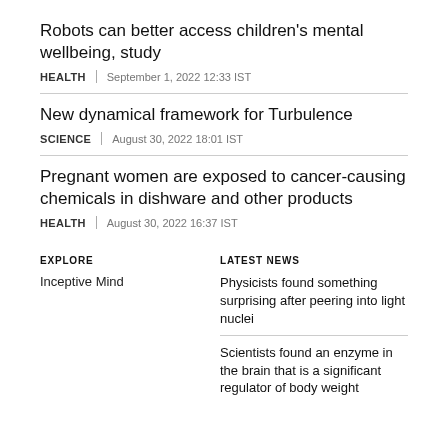Robots can better access children's mental wellbeing, study
HEALTH | September 1, 2022 12:33 IST
New dynamical framework for Turbulence
SCIENCE | August 30, 2022 18:01 IST
Pregnant women are exposed to cancer-causing chemicals in dishware and other products
HEALTH | August 30, 2022 16:37 IST
EXPLORE
Inceptive Mind
LATEST NEWS
Physicists found something surprising after peering into light nuclei
Scientists found an enzyme in the brain that is a significant regulator of body weight